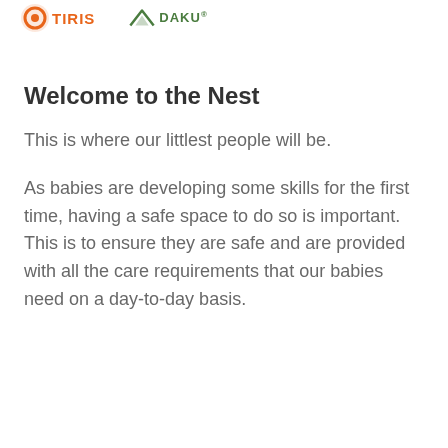TIRIS | DAKU
Welcome to the Nest
This is where our littlest people will be.
As babies are developing some skills for the first time, having a safe space to do so is important. This is to ensure they are safe and are provided with all the care requirements that our babies need on a day-to-day basis.